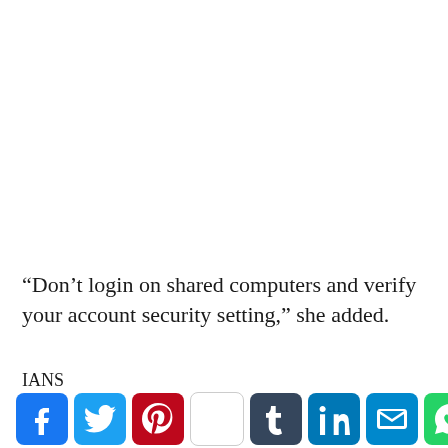“Don’t login on shared computers and verify your account security setting,” she added.
IANS
[Figure (infographic): Social media sharing icons bar: Facebook (blue), Twitter (light blue), Pinterest (red), blank/white box, Tumblr (dark blue), LinkedIn (blue), Email (blue), WhatsApp (green), Share/Plus (blue)]